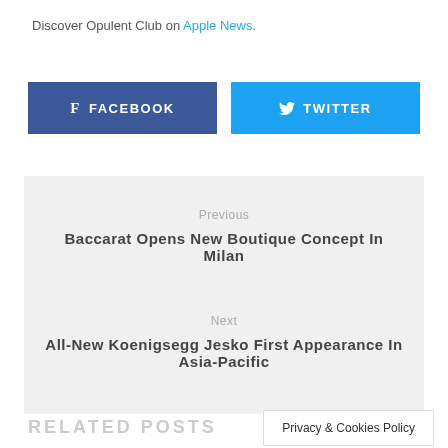Discover Opulent Club on Apple News.
[Figure (other): Facebook social share button (dark blue) with Facebook icon and text FACEBOOK]
[Figure (other): Twitter social share button (light blue) with Twitter bird icon and text TWITTER]
Previous
Baccarat Opens New Boutique Concept In Milan
Next
All-New Koenigsegg Jesko First Appearance In Asia-Pacific
RELATED POSTS
Privacy & Cookies Policy